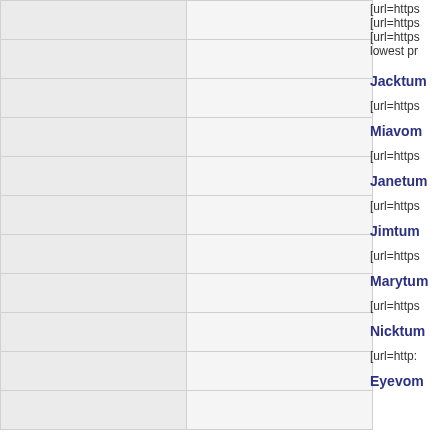|  |  |
|  |  |
|  |  |
|  |  |
|  |  |
|  |  |
|  |  |
|  |  |
|  |  |
|  |  |
|  |  |
[url=https
[url=https
[url=https
lowest pr
Jacktum
[url=https
Miavom
[url=https
Janetum
[url=https
Jimtum
[url=https
Marytum
[url=https
Nicktum
[url=http:
Eyevom